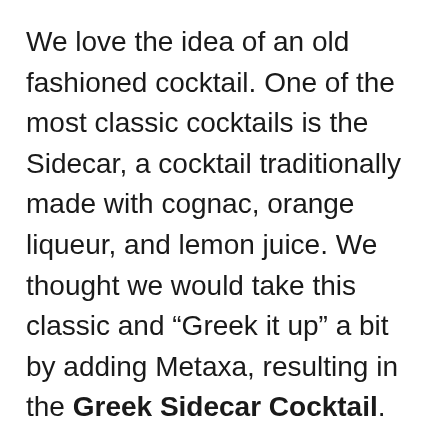We love the idea of an old fashioned cocktail. One of the most classic cocktails is the Sidecar, a cocktail traditionally made with cognac, orange liqueur, and lemon juice. We thought we would take this classic and “Greek it up” a bit by adding Metaxa, resulting in the Greek Sidecar Cocktail.
Although Metaxa was originally compared to a Cognac and subsequently to a brandy, it is actually not classified as either of these spirits. Brandy, by definition, does not include wine. Metaxa has the presence of very fine muscat wines from Samos, an